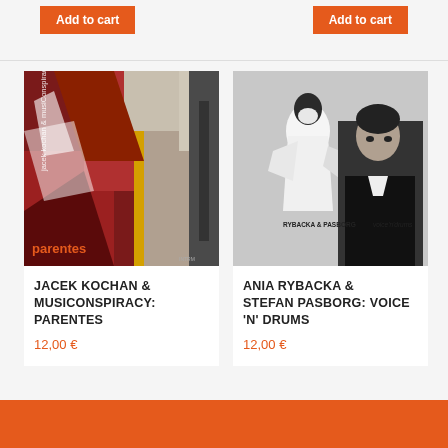Add to cart
Add to cart
[Figure (photo): Album cover for Jacek Kochan & MusiConspiracy: Parentes — abstract painting with reds, yellows, whites, and dark tones; text 'jacek kochan & musiConspiracy' and 'parentes' visible]
JACEK KOCHAN & MUSICONSPIRACY: PARENTES
12,00 €
[Figure (photo): Album cover for Ania Rybacka & Stefan Pasborg: Voice 'N' Drums — black and white photo of a woman in white dress and a man in dark suit; text 'RYBACKA & PASBORG voice'n'drums' visible]
ANIA RYBACKA & STEFAN PASBORG: VOICE 'N' DRUMS
12,00 €